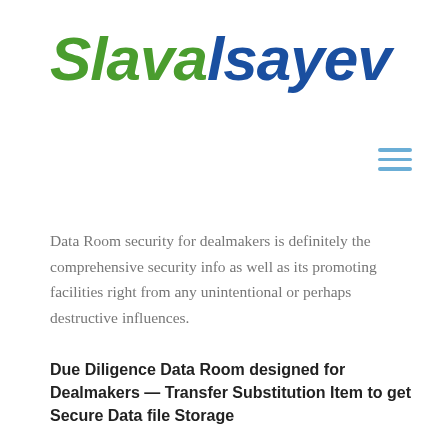[Figure (logo): SlavalsayevIogo with 'Slava' in green and 'lsayev' in dark blue, bold italic large font]
[Figure (other): Hamburger menu icon — three horizontal blue lines]
Data Room security for dealmakers is definitely the comprehensive security info as well as its promoting facilities right from any unintentional or perhaps destructive influences.
Due Diligence Data Room designed for Dealmakers — Transfer Substitution Item to get Secure Data file Storage